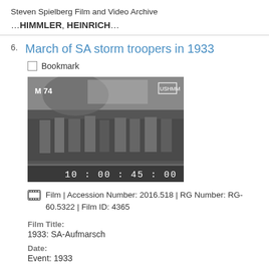Steven Spielberg Film and Video Archive
…HIMMLER, HEINRICH…
6. March of SA storm troopers in 1933
Bookmark
[Figure (photo): Black and white film thumbnail showing marching soldiers/SA storm troopers. Overlay text shows 'M 74' in top left and a timecode '10:00:45:00' at the bottom.]
Film | Accession Number: 2016.518 | RG Number: RG-60.5322 | Film ID: 4365
Film Title:
1933: SA-Aufmarsch
Date:
Event: 1933
Duration: